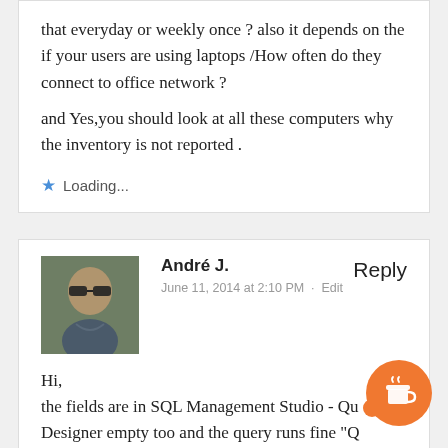that everyday or weekly once ? also it depends on the if your users are using laptops /How often do they connect to office network ? and Yes,you should look at all these computers why the inventory is not reported .
Loading...
André J.
June 11, 2014 at 2:10 PM · Edit
Reply
Hi, the fields are in SQL Management Studio - Query Designer empty too and the query runs fine "QUERY EXECUTED SUCCESSFULLY" but the runtime is